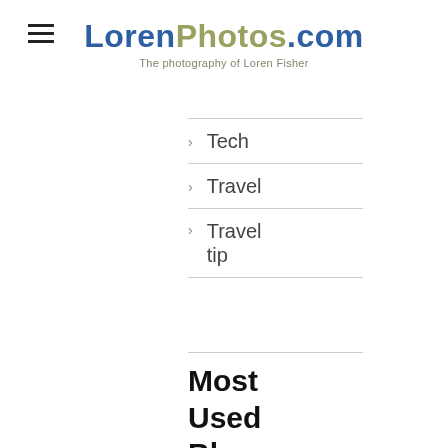LorenPhotos.com — The photography of Loren Fisher
Tech
Travel
Travel tip
Most Used Blog Tags
Alaska
Animals
Backyard